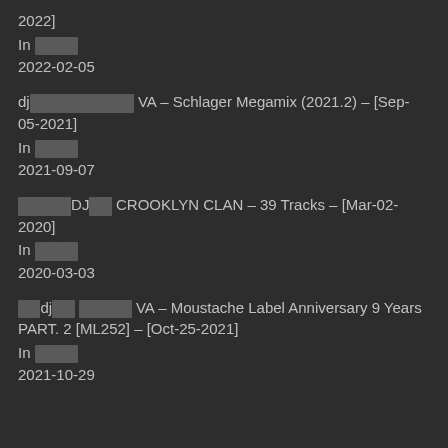2022]
In □□□□
2022-02-05
dj□□□□□□□□□□ VA – Schlager Megamix (2021.2) – [Sep-05-2021]
In □□□□
2021-09-07
□□□□□DJ□□ CROOKLYN CLAN – 39 Tracks – [Mar-02-2020]
In □□□□
2020-03-03
□□dj□□ □□□□□ VA – Moustache Label Anniversary 9 Years PART. 2 [ML252] – [Oct-25-2021]
In □□□□
2021-10-29